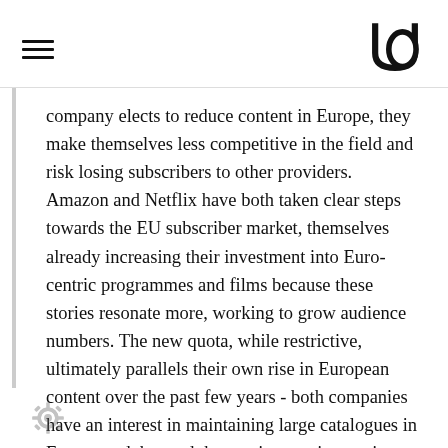[hamburger menu icon] [UO logo]
company elects to reduce content in Europe, they make themselves less competitive in the field and risk losing subscribers to other providers. Amazon and Netflix have both taken clear steps towards the EU subscriber market, themselves already increasing their investment into Euro-centric programmes and films because these stories resonate more, working to grow audience numbers. The new quota, while restrictive, ultimately parallels their own rise in European content over the past few years - both companies have an interest in maintaining large catalogues in Europe and, beyond that, an interest in creating local content.
[settings/gear icon]